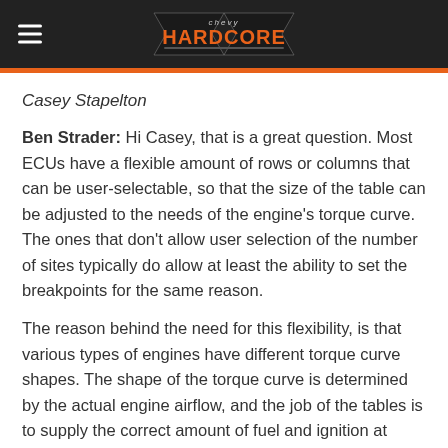Chevy Hardcore
Casey Stapelton
Ben Strader: Hi Casey, that is a great question. Most ECUs have a flexible amount of rows or columns that can be user-selectable, so that the size of the table can be adjusted to the needs of the engine's torque curve. The ones that don't allow user selection of the number of sites typically do allow at least the ability to set the breakpoints for the same reason.
The reason behind the need for this flexibility, is that various types of engines have different torque curve shapes. The shape of the torque curve is determined by the actual engine airflow, and the job of the tables is to supply the correct amount of fuel and ignition at each point the engine operates, based on the airflow